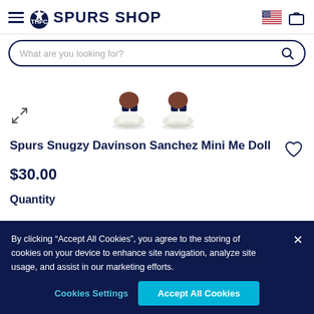SPURS SHOP
What are you looking for?
[Figure (photo): Product image: two small Spurs Snugzy Davinson Sanchez Mini Me Doll figures, viewed from the back, showing navy/white coloring.]
Spurs Snugzy Davinson Sanchez Mini Me Doll
$30.00
Quantity
By clicking “Accept All Cookies”, you agree to the storing of cookies on your device to enhance site navigation, analyze site usage, and assist in our marketing efforts.
Cookies Settings
Accept All Cookies